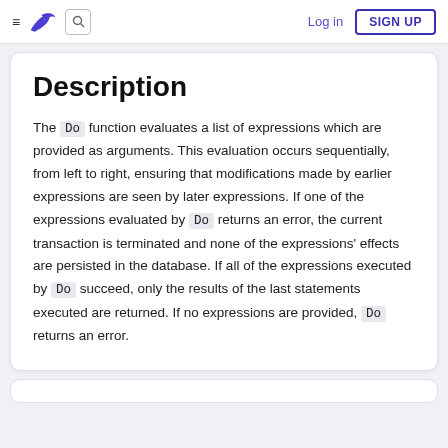≡ [logo] [search] Log in SIGN UP
Description
The Do function evaluates a list of expressions which are provided as arguments. This evaluation occurs sequentially, from left to right, ensuring that modifications made by earlier expressions are seen by later expressions. If one of the expressions evaluated by Do returns an error, the current transaction is terminated and none of the expressions' effects are persisted in the database. If all of the expressions executed by Do succeed, only the results of the last statements executed are returned. If no expressions are provided, Do returns an error.